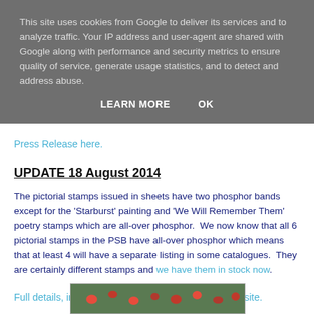This site uses cookies from Google to deliver its services and to analyze traffic. Your IP address and user-agent are shared with Google along with performance and security metrics to ensure quality of service, generate usage statistics, and to detect and address abuse.
LEARN MORE   OK
Press Release here.
UPDATE 18 August 2014
The pictorial stamps issued in sheets have two phosphor bands except for the 'Starburst' painting and 'We Will Remember Them' poetry stamps which are all-over phosphor.  We now know that all 6 pictorial stamps in the PSB have all-over phosphor which means that at least 4 will have a separate listing in some catalogues.  They are certainly different stamps and we have them in stock now.
Full details, including ultra-violet pictures, on our website.
[Figure (photo): Photograph of red poppies in a field, partially visible at bottom of page]